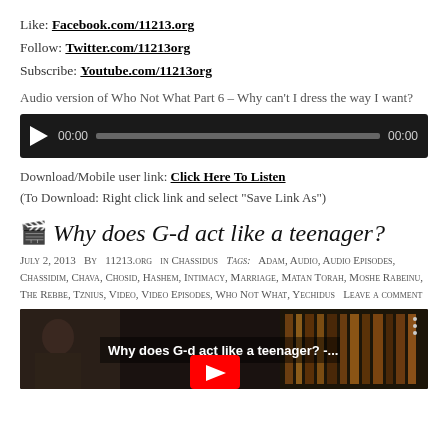Like: Facebook.com/11213.org
Follow: Twitter.com/11213org
Subscribe: Youtube.com/11213org
Audio version of Who Not What Part 6 – Why can't I dress the way I want?
[Figure (other): Audio player with play button, time 00:00, progress bar, and end time 00:00]
Download/Mobile user link: Click Here To Listen
(To Download: Right click link and select “Save Link As”)
🎬 Why does G-d act like a teenager?
July 2, 2013  By  11213.org  in  Chassidus  Tags:  Adam, Audio, Audio Episodes, Chassidim, Chava, Chosid, Hashem, Intimacy, Marriage, Matan Torah, Moshe Rabeinu, The Rebbe, Tznius, Video, Video Episodes, Who Not What, Yechidus  Leave a comment
[Figure (screenshot): Video thumbnail showing man in dark suit and hat, text overlay 'Why does G-d act like a teenager? -...' with YouTube play button arrow]